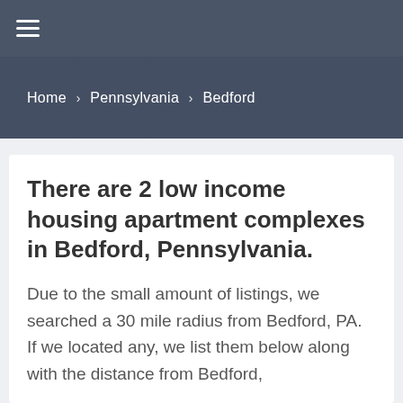≡
Home › Pennsylvania › Bedford
There are 2 low income housing apartment complexes in Bedford, Pennsylvania.
Due to the small amount of listings, we searched a 30 mile radius from Bedford, PA. If we located any, we list them below along with the distance from Bedford,